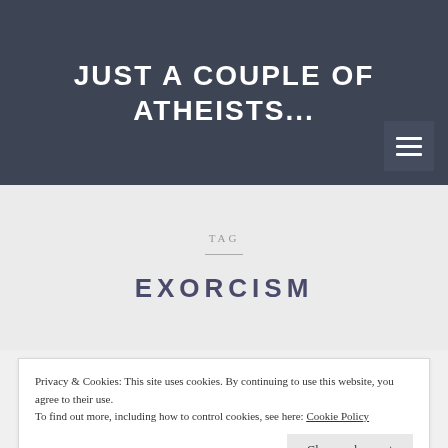JUST A COUPLE OF ATHEISTS...
TAG
EXORCISM
Privacy & Cookies: This site uses cookies. By continuing to use this website, you agree to their use.
To find out more, including how to control cookies, see here: Cookie Policy